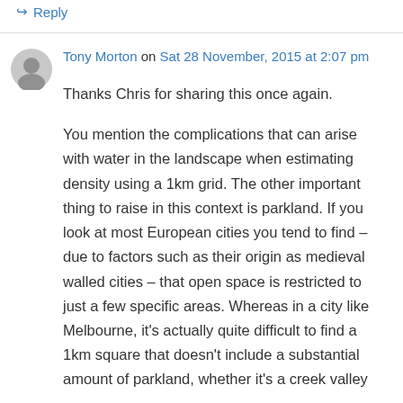↪ Reply
Tony Morton on Sat 28 November, 2015 at 2:07 pm
Thanks Chris for sharing this once again.

You mention the complications that can arise with water in the landscape when estimating density using a 1km grid. The other important thing to raise in this context is parkland. If you look at most European cities you tend to find – due to factors such as their origin as medieval walled cities – that open space is restricted to just a few specific areas. Whereas in a city like Melbourne, it's actually quite difficult to find a 1km square that doesn't include a substantial amount of parkland, whether it's a creek valley